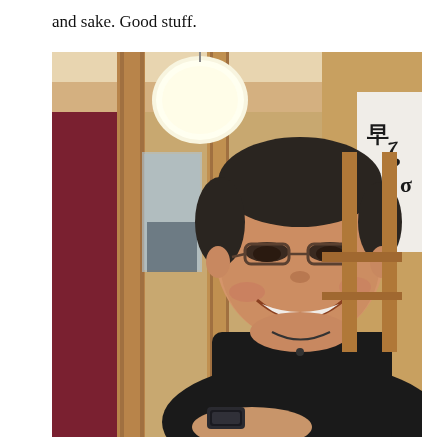and sake. Good stuff.
[Figure (photo): A smiling middle-aged man with glasses and short dark hair, wearing a black polo shirt and a watch, sitting in what appears to be a Japanese restaurant with wooden decor, a round pendant light, and Japanese calligraphy on a banner in the background.]